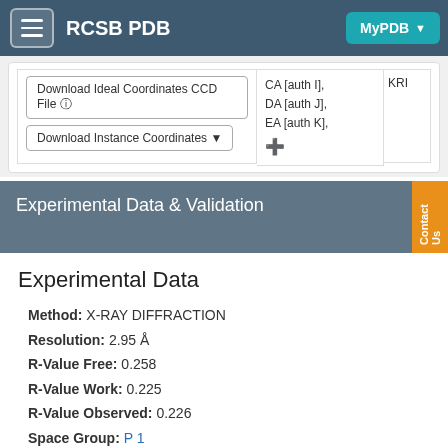RCSB PDB  MyPDB
[Figure (screenshot): Partial RCSB PDB web page showing download buttons and partial table with coordinate data including CA [auth I], DA [auth J], EA [auth K], KRI text]
Experimental Data & Validation
Experimental Data
Method: X-RAY DIFFRACTION
Resolution: 2.95 Å
R-Value Free: 0.258
R-Value Work: 0.225
R-Value Observed: 0.226
Space Group: P 1
Unit Cell:
| Length ( Å ) | Angle ( ˚ ) |
| --- | --- |